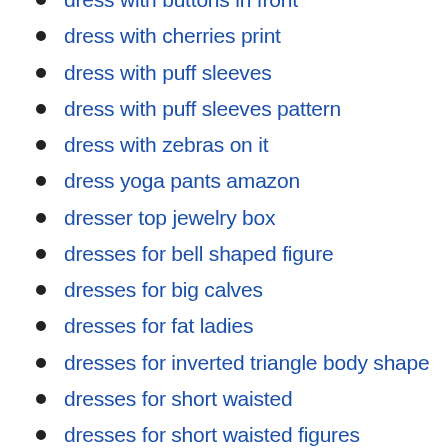dress with buttons in front
dress with cherries print
dress with puff sleeves
dress with puff sleeves pattern
dress with zebras on it
dress yoga pants amazon
dresser top jewelry box
dresses for bell shaped figure
dresses for big calves
dresses for fat ladies
dresses for inverted triangle body shape
dresses for short waisted
dresses for short waisted figures
dresses for short waisted petites
dresses for short waisted plus size